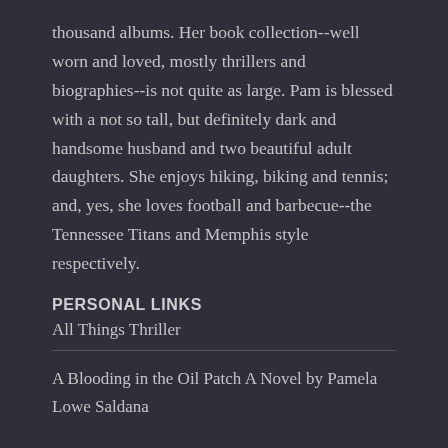thousand albums. Her book collection--well worn and loved, mostly thrillers and biographies--is not quite as large. Pam is blessed with a not so tall, but definitely dark and handsome husband and two beautiful adult daughters. She enjoys hiking, biking and tennis; and, yes, she loves football and barbecue--the Tennessee Titans and Memphis style respectively.
PERSONAL LINKS
All Things Thriller
A Blooding in the Oil Patch A Novel by Pamela Lowe Saldana